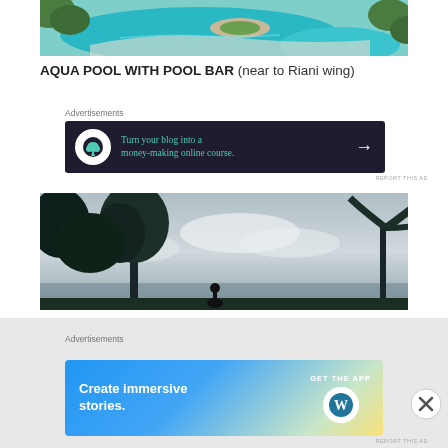[Figure (photo): Aerial view of a tropical aqua-colored swimming pool with lush greenery and stone pathways]
AQUA POOL WITH POOL BAR (near to Riani wing)
Advertisements
[Figure (screenshot): Dark navy advertisement banner: 'Turn your blog into a money-making online course.' with arrow, bonsai tree icon]
REPORT THIS AD
[Figure (photo): Outdoor tropical scene with silhouetted palm trees against a dusk sky]
Advertisements
[Figure (screenshot): WordPress advertisement: 'Create immersive stories. GET THE APP' with WordPress logo, gradient blue-green-yellow background]
REPORT THIS AD